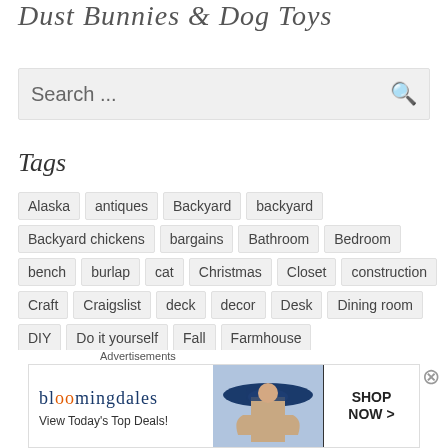Dust Bunnies & Dog Toys
Search ...
Tags
Alaska
antiques
Backyard
backyard
Backyard chickens
bargains
Bathroom
Bedroom
bench
burlap
cat
Christmas
Closet
construction
Craft
Craigslist
deck
decor
Desk
Dining room
DIY
Do it yourself
Fall
Farmhouse
Advertisements
[Figure (infographic): Bloomingdale's advertisement banner: 'View Today's Top Deals!' with 'SHOP NOW >' button and image of woman in large hat]